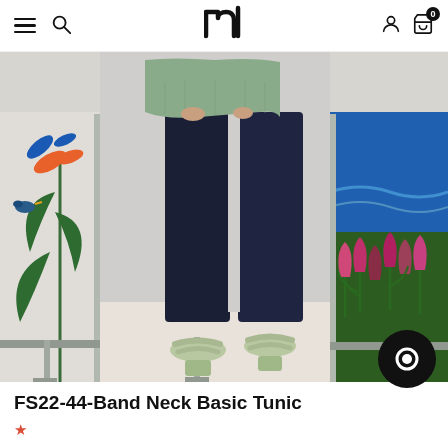nl (logo) — navigation bar with hamburger, search, user, cart icons
[Figure (photo): Fashion product photo showing lower body of a woman wearing dark navy slim-fit jeans, a sage green tunic top, and light green crossover strap heeled sandals. Background has decorative panels with bird-of-paradise flowers on the left and colorful tulip artwork on the right, framed in silver/chrome.]
FS22-44-Band Neck Basic Tunic